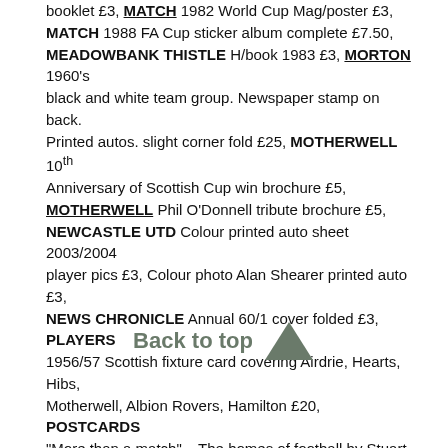booklet £3, MATCH 1982 World Cup Mag/poster £3, MATCH 1988 FA Cup sticker album complete £7.50, MEADOWBANK THISTLE H/book 1983 £3, MORTON 1960's black and white team group. Newspaper stamp on back. Printed autos. slight corner fold £25, MOTHERWELL 10th Anniversary of Scottish Cup win brochure £5, MOTHERWELL Phil O'Donnell tribute brochure £5, NEWCASTLE UTD Colour printed auto sheet 2003/2004 player pics £3, Colour photo Alan Shearer printed auto £3, NEWS CHRONICLE Annual 60/1 cover folded £3, PLAYERS 1956/57 Scottish fixture card covering Airdrie, Hearts, Hibs, Motherwell, Albion Rovers, Hamilton £20, POSTCARDS "More than a match" – The homes of football by Stuart Clark. In book form it is a lovely series of 31 postcards £20, POSTCARDS Homes of Football series £2 each. Hampden 1994 Allegiance to the Wall, Rangers early bath incentive 1992, PSG Handbook 89/90 £2, QUEENS PARK 1867-2017 150 Years in Scottish football A4 size £5, QUEENS PARK The Great War 2014 £5, QUEENS PARK Supporters Assoc. Members h/book 95/6 £3, RACING + FOOTBALL OUTLOOK Annuals 58/9 £4, 60/1